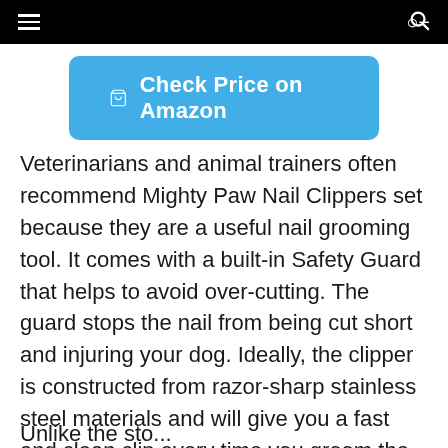☰ [menu icon] | 🔍 [search icon]
[Figure (other): Blue rounded button with shopping cart icon and text 'Check Price on Amazon']
Veterinarians and animal trainers often recommend Mighty Paw Nail Clippers set because they are a useful nail grooming tool. It comes with a built-in Safety Guard that helps to avoid over-cutting. The guard stops the nail from being cut short and injuring your dog. Ideally, the clipper is constructed from razor-sharp stainless steel materials and will give you a fast and clean clip every time you groom the pet nails. Moreover, the handles are ergonomically designed for comfort when using them while preventing clippers from slipping.
Unlike other...